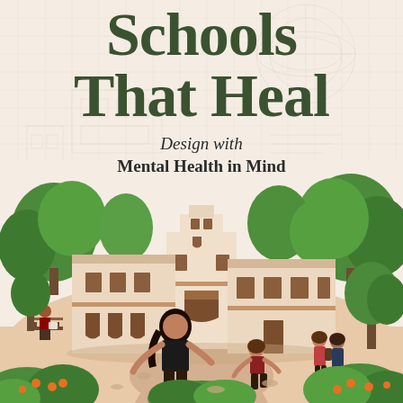Schools That Heal
Design with Mental Health in Mind
[Figure (illustration): Illustrated book cover showing a school campus with Spanish-style architecture (white buildings with terracotta roof tiles and arched doorways), surrounded by green trees. In the foreground, children are playing and walking in a courtyard. One girl with dark hair runs in the center, another child runs behind her, two students walk near trees on the right, and a child sits reading on a bench on the left. Orange fruit trees and lush green bushes frame the bottom of the scene. A faint architectural blueprint pattern appears in the background behind the title text.]